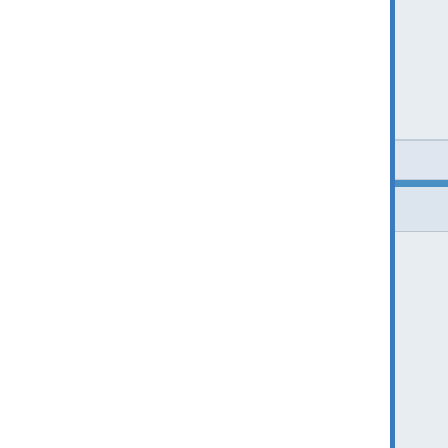I haven't checked the
Regards, Terry
Back to top
amaloney
Captain

Joined: Jun 15, 2003
Posts: 66
Posted: Sun Jun 27, 2
Thanks Smokey & Te

I ran

alias mv="mv -f"
open /Volumes/OOo\

The installation still h
So, I used the kill sug

The program runs we

New problem (?featu
directory. I have set t
Sláinte!
Al
Back to top